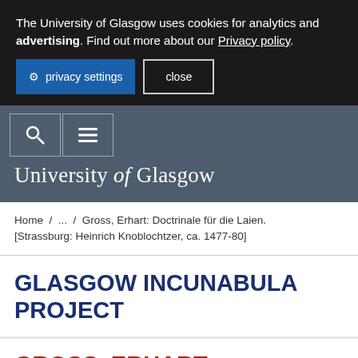The University of Glasgow uses cookies for analytics and advertising. Find out more about our Privacy policy.
privacy settings   close
[Figure (screenshot): Navigation bar with search icon and hamburger menu icon in bordered boxes on dark grey background]
University of Glasgow
Home / ... / Gross, Erhart: Doctrinale für die Laien. [Strassburg: Heinrich Knoblochtzer, ca. 1477-80]
GLASGOW INCUNABULA PROJECT
GROSS, ERHART: DOCTRINALE